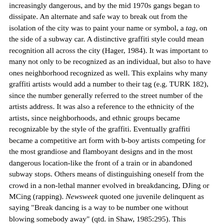increasingly dangerous, and by the mid 1970s gangs began to dissipate. An alternate and safe way to break out from the isolation of the city was to paint your name or symbol, a tag, on the side of a subway car. A distinctive graffiti style could mean recognition all across the city (Hager, 1984). It was important to many not only to be recognized as an individual, but also to have ones neighborhood recognized as well. This explains why many graffiti artists would add a number to their tag (e.g. TURK 182), since the number generally referred to the street number of the artists address. It was also a reference to the ethnicity of the artists, since neighborhoods, and ethnic groups became recognizable by the style of the graffiti. Eventually graffiti became a competitive art form with b-boy artists competing for the most grandiose and flamboyant designs and in the most dangerous location-like the front of a train or in abandoned subway stops. Others means of distinguishing oneself from the crowd in a non-lethal manner evolved in breakdancing, DJing or MCing (rapping). Newsweek quoted one juvenile delinquent as saying "Break dancing is a way to be number one without blowing somebody away" (qtd. in Shaw, 1985:295). This competition brought ethnic groups together even more and forced a sharing of musical heritages, necessary to the innovation that was hip hop music.
Hip Hop is Born
Several key figures embodied many of the key cultural and socio-economic elements mentioned above and were responsible for